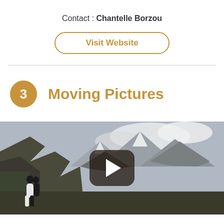Contact : Chantelle Borzou
Visit Website
3  Moving Pictures
[Figure (photo): Video player thumbnail showing a mountain landscape with clouds and a couple standing in front of a rocky cliff. A play button icon is centered on the image.]